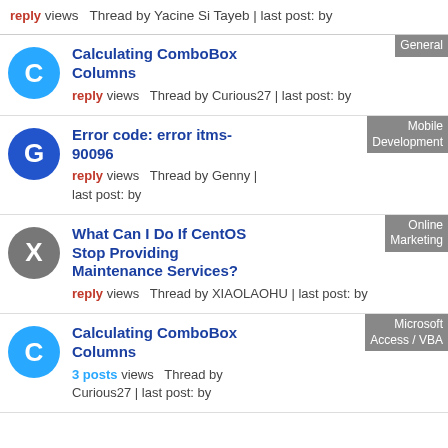reply views Thread by Yacine Si Tayeb | last post: by
Calculating ComboBox Columns
reply views Thread by Curious27 | last post: by
General
Error code: error itms-90096
reply views Thread by Genny | last post: by
Mobile Development
What Can I Do If CentOS Stop Providing Maintenance Services?
reply views Thread by XIAOLAOHU | last post: by
Online Marketing
Calculating ComboBox Columns
3 posts views Thread by Curious27 | last post: by
Microsoft Access / VBA